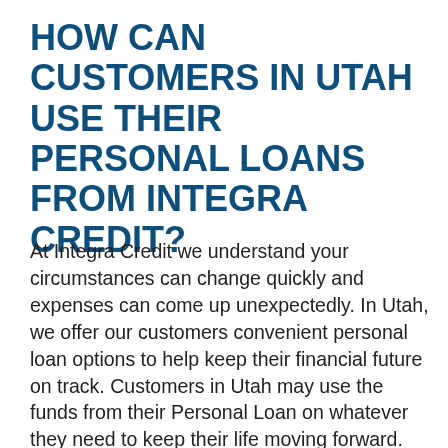HOW CAN CUSTOMERS IN UTAH USE THEIR PERSONAL LOANS FROM INTEGRA CREDIT?
At Integra Credit we understand your circumstances can change quickly and expenses can come up unexpectedly. In Utah, we offer our customers convenient personal loan options to help keep their financial future on track. Customers in Utah may use the funds from their Personal Loan on whatever they need to keep their life moving forward. Many customers use their personal loans to cover unexpected expenses. For example, car repairs or hospital bills. You may also use the funds to cover a one-time expense like a home improvement project or debit consolidation. We're here to help customers support their financial...